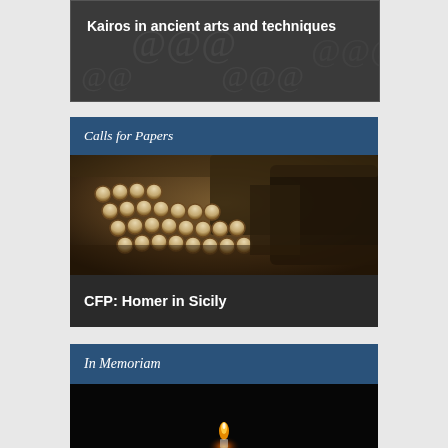[Figure (photo): Dark gray card with decorative background showing 'Kairos in ancient arts and techniques' text]
Kairos in ancient arts and techniques
Calls for Papers
[Figure (photo): Close-up photograph of vintage typewriter keys in warm sepia tones]
CFP: Homer in Sicily
In Memoriam
[Figure (photo): Dark image with a single candle flame against a black background]